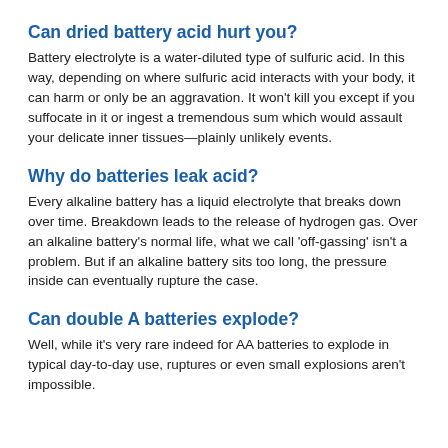Can dried battery acid hurt you?
Battery electrolyte is a water-diluted type of sulfuric acid. In this way, depending on where sulfuric acid interacts with your body, it can harm or only be an aggravation. It won't kill you except if you suffocate in it or ingest a tremendous sum which would assault your delicate inner tissues—plainly unlikely events.
Why do batteries leak acid?
Every alkaline battery has a liquid electrolyte that breaks down over time. Breakdown leads to the release of hydrogen gas. Over an alkaline battery's normal life, what we call 'off-gassing' isn't a problem. But if an alkaline battery sits too long, the pressure inside can eventually rupture the case.
Can double A batteries explode?
Well, while it's very rare indeed for AA batteries to explode in typical day-to-day use, ruptures or even small explosions aren't impossible.